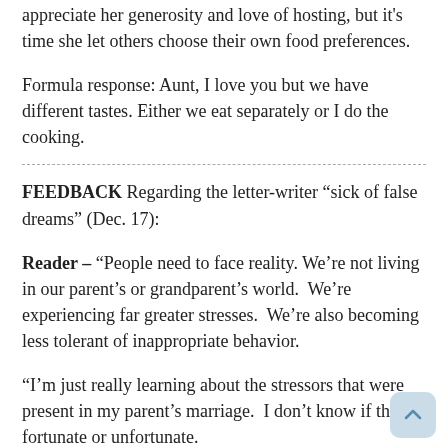appreciate her generosity and love of hosting, but it's time she let others choose their own food preferences.
Formula response: Aunt, I love you but we have different tastes. Either we eat separately or I do the cooking.
FEEDBACK Regarding the letter-writer “sick of false dreams” (Dec. 17):
Reader – “People need to face reality. We’re not living in our parent’s or grandparent’s world. We’re experiencing far greater stresses. We’re also becoming less tolerant of inappropriate behavior.
“I’m just really learning about the stressors that were present in my parent’s marriage. I don’t know if that’s fortunate or unfortunate.
“I now think that honesty and communication are key components to a successful marriage. Both parties need to